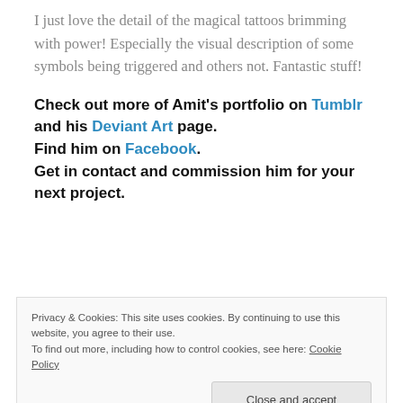I just love the detail of the magical tattoos brimming with power! Especially the visual description of some symbols being triggered and others not. Fantastic stuff!
Check out more of Amit's portfolio on Tumblr and his Deviant Art page. Find him on Facebook. Get in contact and commission him for your next project.
Privacy & Cookies: This site uses cookies. By continuing to use this website, you agree to their use. To find out more, including how to control cookies, see here: Cookie Policy